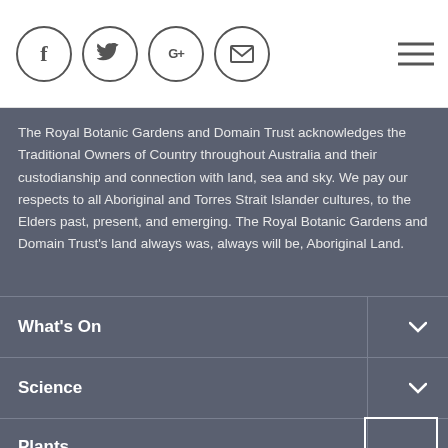[Figure (other): Social media icons in circles: Facebook (f), Twitter (bird), Google+ (G+), Email (envelope), and a hamburger menu icon on the right]
The Royal Botanic Gardens and Domain Trust acknowledges the Traditional Owners of Country throughout Australia and their custodianship and connection with land, sea and sky. We pay our respects to all Aboriginal and Torres Strait Islander cultures, to the Elders past, present, and emerging. The Royal Botanic Gardens and Domain Trust's land always was, always will be, Aboriginal Land.
What's On
Science
Plants
Learn